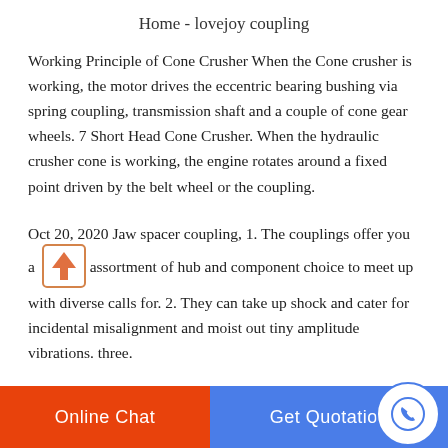Home - lovejoy coupling
Working Principle of Cone Crusher When the Cone crusher is working, the motor drives the eccentric bearing bushing via spring coupling, transmission shaft and a couple of cone gear wheels. 7 Short Head Cone Crusher. When the hydraulic crusher cone is working, the engine rotates around a fixed point driven by the belt wheel or the coupling.
Oct 20, 2020 Jaw spacer coupling, 1. The couplings offer you a assortment of hub and component choice to meet up with diverse calls for. 2. They can take up shock and cater for incidental misalignment and moist out tiny amplitude vibrations. three.
Online Chat | Get Quotation